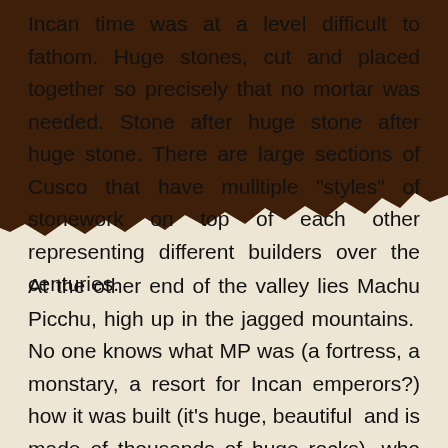Incan time was at a level difficult to fathom. Huge stones, cut and placed together so precisely that no mortar was needed. Stone after huge stone after huge stone. There are large sections of Cusco that have mulltiple "styles" of stonework on top of each other representing different builders over the centuries.
At the other end of the valley lies Machu Picchu, high up in the jagged mountains. No one knows what MP was (a fortress, a monstary, a resort for Incan emperors?) how it was built (it's huge, beautiful and is made of thousands of huge rocks), who lived there